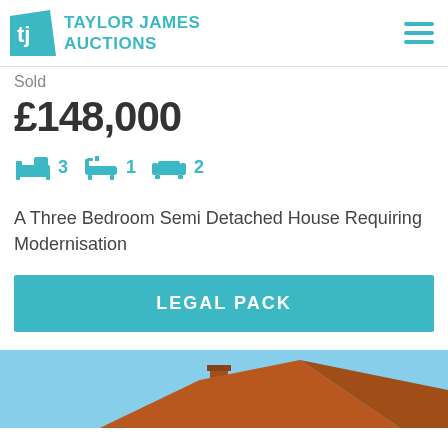TAYLOR JAMES AUCTIONS
Sold
£148,000
3 bedrooms, 1 bathroom, 2 reception rooms
A Three Bedroom Semi Detached House Requiring Modernisation
LEGAL PACK
[Figure (photo): Photo of a semi-detached house rooftop with chimney against a blue sky]